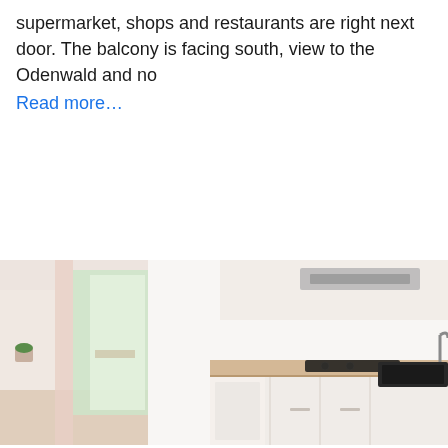supermarket, shops and restaurants are right next door. The balcony is facing south, view to the Odenwald and no Read more…
[Figure (photo): Interior photo of a modern bright kitchen and living area with white cabinets, wooden countertop, induction cooktop, sink with chrome faucet, range hood, open balcony door with curtains and a small plant visible.]